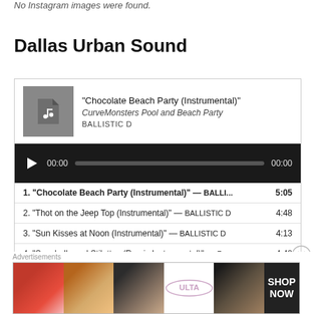No Instagram images were found.
Dallas Urban Sound
[Figure (screenshot): Music player widget showing album art placeholder with musical note icon, track title 'Chocolate Beach Party (Instrumental)', album 'CurveMonsters Pool and Beach Party', artist 'BALLISTIC D', and audio playback controls with progress bar showing 00:00 / 00:00]
| # | Track | Duration |
| --- | --- | --- |
| 1. | "Chocolate Beach Party (Instrumental)" — BALLI... | 5:05 |
| 2. | "Thot on the Jeep Top (Instrumental)" — BALLISTIC D | 4:48 |
| 3. | "Sun Kisses at Noon (Instrumental)" — BALLISTIC D | 4:13 |
| 4. | "Seashells and Stilettos (Remix Instrumental)" — B... | 4:48 |
| 5. | "She Beautiful (CurveMonsters Remix)" — BALLISTIC D | 4:59 |
| 6. | "Jeans Under Pressure (#StuffedCurves challenge)" | 5:46 |
Advertisements
[Figure (photo): ULTA Beauty advertisement banner with images of lips, makeup brush, eyes, ULTA logo, more eyes, and SHOP NOW call-to-action on dark background]